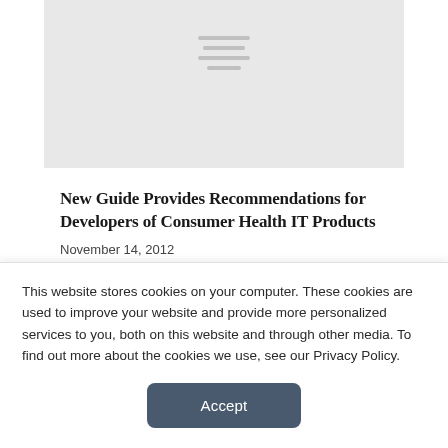[Figure (illustration): Gray placeholder image with hamburger menu lines icon centered near top]
New Guide Provides Recommendations for Developers of Consumer Health IT Products
November 14, 2012
This website stores cookies on your computer. These cookies are used to improve your website and provide more personalized services to you, both on this website and through other media. To find out more about the cookies we use, see our Privacy Policy.